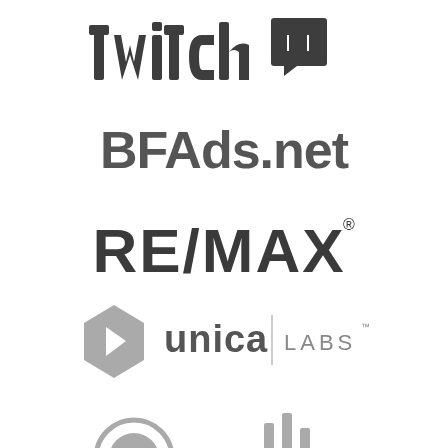[Figure (logo): Twitch logo in dark gray/charcoal with the Twitch wordmark and speech bubble icon]
[Figure (logo): BFAds.net logo in gray sans-serif text]
[Figure (logo): RE/MAX logo in bold dark gray sans-serif with registered trademark symbol]
[Figure (logo): Unica Labs logo with gray hexagonal play button icon and text]
[Figure (logo): Partial logos visible at bottom of page]